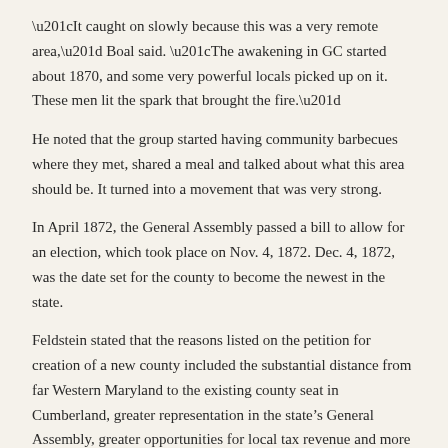“It caught on slowly because this was a very remote area,” Boal said. “The awakening in GC started about 1870, and some very powerful locals picked up on it. These men lit the spark that brought the fire.”
He noted that the group started having community barbecues where they met, shared a meal and talked about what this area should be. It turned into a movement that was very strong.
In April 1872, the General Assembly passed a bill to allow for an election, which took place on Nov. 4, 1872. Dec. 4, 1872, was the date set for the county to become the newest in the state.
Feldstein stated that the reasons listed on the petition for creation of a new county included the substantial distance from far Western Maryland to the existing county seat in Cumberland, greater representation in the state’s General Assembly, greater opportunities for local tax revenue and more appropriate expenditures of public funds.
Two possible names were proposed for the county: Garrett and Glade.
He noted that the new county was established by the Maryland State…